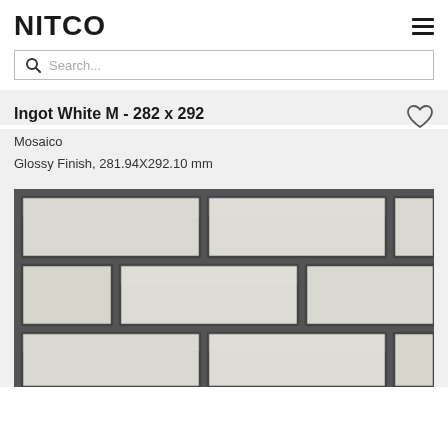NITCO
Search...
Ingot White M - 282 x 292
Mosaico
Glossy Finish, 281.94X292.10 mm
[Figure (photo): Close-up photo of white glossy brick-pattern mosaic tiles with dark grey grout on dark textured background. Tiles are arranged in a staggered brick layout, showing rectangular white tiles with glossy finish separated by dark grey grout lines.]